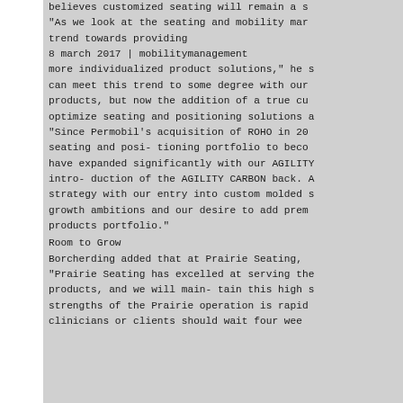believes customized seating will remain a s...
"As we look at the seating and mobility mar... trend towards providing
8 march 2017 | mobilitymanagement
more individualized product solutions," he s... can meet this trend to some degree with our... products, but now the addition of a true cu... optimize seating and positioning solutions a...
"Since Permobil's acquisition of ROHO in 20... seating and posi- tioning portfolio to beco... have expanded significantly with our AGILITY... intro- duction of the AGILITY CARBON back. A... strategy with our entry into custom molded s... growth ambitions and our desire to add prem... products portfolio."
Room to Grow
Borcherding added that at Prairie Seating, ... "Prairie Seating has excelled at serving the... products, and we will main- tain this high s... strengths of the Prairie operation is rapid... clinicians or clients should wait four wee...